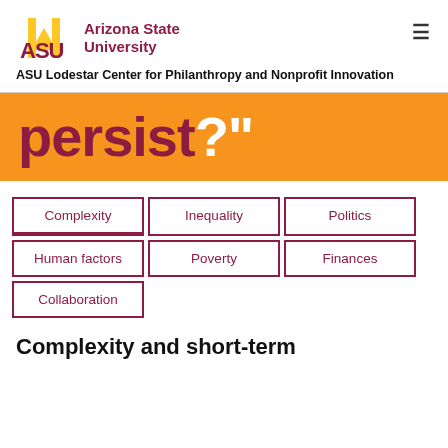ASU Arizona State University
ASU Lodestar Center for Philanthropy and Nonprofit Innovation
persist?"
Complexity
Inequality
Politics
Human factors
Poverty
Finances
Collaboration
Complexity and short-term